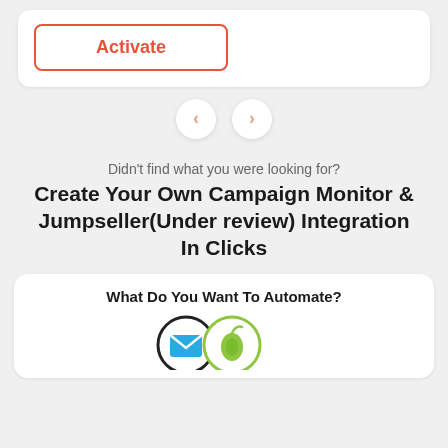[Figure (screenshot): Activate button with red-orange border and text inside a white card]
[Figure (screenshot): Navigation arrows (left and right chevrons) in circular buttons]
Didn't find what you were looking for?
Create Your Own Campaign Monitor & Jumpseller(Under review) Integration In Clicks
What Do You Want To Automate?
[Figure (logo): Campaign Monitor logo (envelope icon in blue) and Jumpseller logo (green leaf/pear icon) in circular frames at bottom]